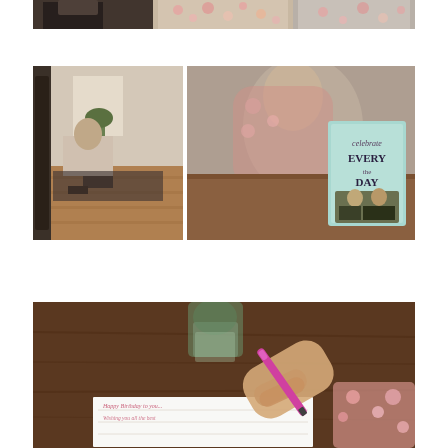[Figure (photo): Top strip: partial photo collage showing people at what appears to be a gathering — a man in dark suit on left, person in floral dress in center, another figure in floral on right, against a warm interior background.]
[Figure (photo): Middle row: two-panel photo collage. Left panel shows an interior living room scene with a person sitting, plant, and hardwood floors. Right panel shows a blurred person in patterned clothing with a book or card on a wooden table reading 'celebrate EVERY DAY' with a couple's photo on it.]
[Figure (photo): Bottom large photo: close-up of a hand holding a pink pen writing on a white card/notepad on a dark wooden table. A glass jar with greenery is blurred in the background.]